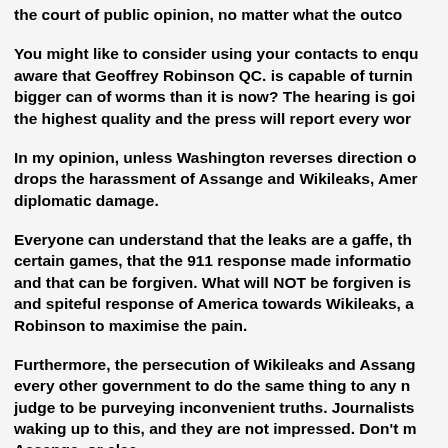the court of public opinion, no matter what the outco...
You might like to consider using your contacts to enqu... aware that Geoffrey Robinson QC. is capable of turnin... bigger can of worms than it is now? The hearing is goi... the highest quality and the press will report every wor...
In my opinion, unless Washington reverses direction o... drops the harassment of Assange and Wikileaks, Amer... diplomatic damage.
Everyone can understand that the leaks are a gaffe, th... certain games, that the 911 response made informatio... and that can be forgiven. What will NOT be forgiven is... and spiteful response of America towards Wikileaks, a... Robinson to maximise the pain.
Furthermore, the persecution of Wikileaks and Assang... every other government to do the same thing to any n... judge to be purveying inconvenient truths. Journalists... waking up to this, and they are not impressed. Don't m... Assange, or else.
It should also not be lost on anyone that in Assanges...